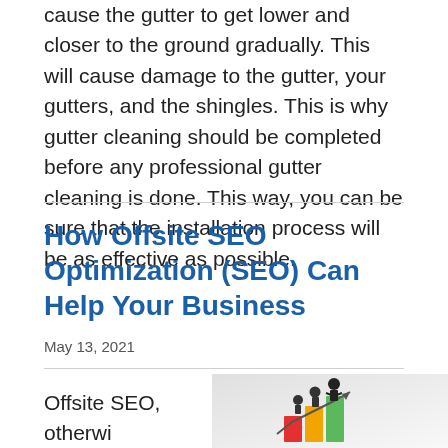cause the gutter to get lower and closer to the ground gradually. This will cause damage to the gutter, your gutters, and the shingles. This is why gutter cleaning should be completed before any professional gutter cleaning is done. This way, you can be sure that the installation process will be as effective as possible.
How Offsite SEO Optimization (SEO) Can Help Your Business
May 13, 2021
Offsite SEO, otherwi
[Figure (illustration): Illustration of people figures standing on colorful bar chart columns with an upward arrow, representing SEO growth or business improvement.]